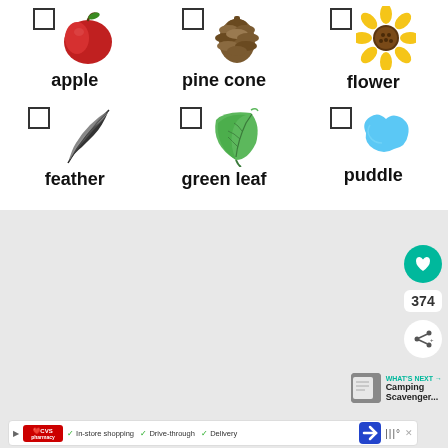[Figure (illustration): Scavenger hunt worksheet showing six nature items each with a checkbox: apple (red apple image), pine cone (brown pine cone image), flower (sunflower image), feather (black and white feather image), green leaf (green leaf image), puddle (blue puddle shape image). Below is a gray content area with UI elements including a heart button with 374 likes, share button, and 'What's Next: Camping Scavenger...' panel. An advertisement bar for CVS pharmacy at the bottom shows In-store shopping, Drive-through, Delivery options.]